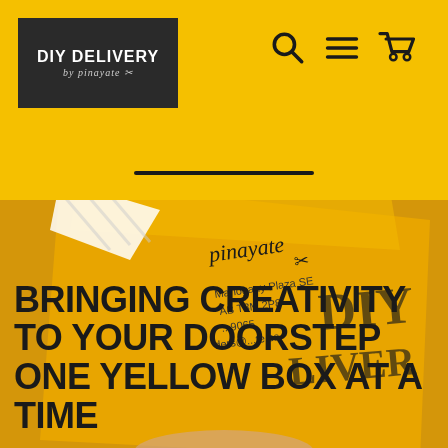DIY DELIVERY by pinayate — navigation header with search, menu, and cart icons
[Figure (logo): DIY Delivery by pinayate logo on dark background inside header]
[Figure (photo): Close-up photo of a yellow delivery box held in hand, showing pinayate branding with address: Mahogany Plaza SE, AB T3M 2P8, and email ending in ...te.ca. The text DIY DELIVERED is partially visible in decorative font on the right side.]
BRINGING CREATIVITY TO YOUR DOORSTEP ONE YELLOW BOX AT A TIME